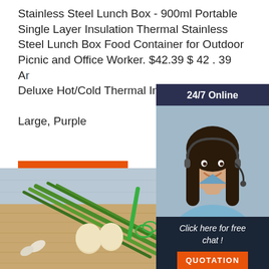Stainless Steel Lunch Box - 900ml Portable Single Layer Insulation Thermal Stainless Steel Lunch Box Food Container for Outdoor Picnic and Office Worker. $42.39 $ 42 . 39 Artisan Deluxe Hot/Cold Thermal Insulated Fo… Large, Purple
[Figure (other): Customer service chat widget showing a woman with a headset, '24/7 Online' header, 'Click here for free chat!' text, and an orange QUOTATION button]
[Figure (photo): Bottom photo showing green onions, eggs, a green whisk, and a stainless steel bowl on a wooden cutting board with a blue fabric background, with an orange TOP logo in lower right]